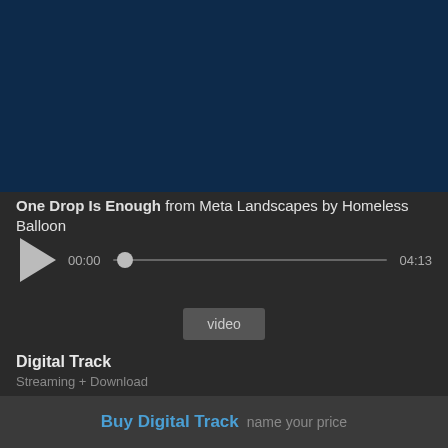[Figure (illustration): Dark navy blue album art background]
One Drop Is Enough from Meta Landscapes by Homeless Balloon
[Figure (other): Audio player with play button, progress bar showing 00:00 to 04:13]
video
Digital Track
Streaming + Download
Includes high-quality download in MP3, FLAC and more. Paying supporters also get unlimited streaming via the free Bandcamp app.
Buy Digital Track name your price